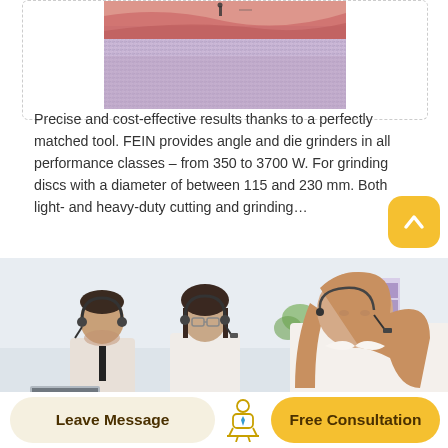[Figure (photo): Partial photo of gravel/aggregate material with a reddish landscape and a small figure in the background, representing industrial grinding application for FEIN tools.]
Precise and cost-effective results thanks to a perfectly matched tool. FEIN provides angle and die grinders in all performance classes – from 350 to 3700 W. For grinding discs with a diameter of between 115 and 230 mm. Both light- and heavy-duty cutting and grinding…
[Figure (photo): Photo of three customer service representatives wearing headsets, seated in a bright office environment, with laptops — a call center scene.]
Leave Message
Free Consultation